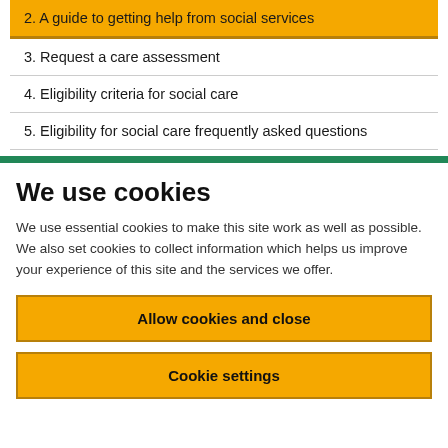2. A guide to getting help from social services
3. Request a care assessment
4. Eligibility criteria for social care
5. Eligibility for social care frequently asked questions
We use cookies
We use essential cookies to make this site work as well as possible. We also set cookies to collect information which helps us improve your experience of this site and the services we offer.
Allow cookies and close
Cookie settings